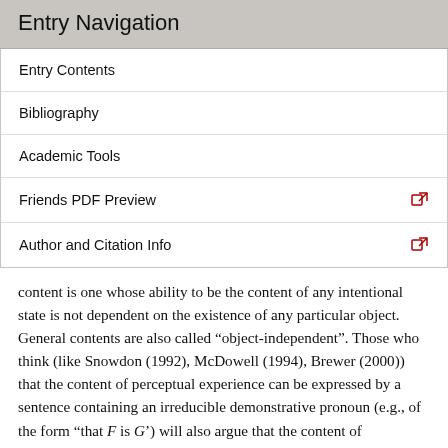Entry Navigation
Entry Contents
Bibliography
Academic Tools
Friends PDF Preview
Author and Citation Info
content is one whose ability to be the content of any intentional state is not dependent on the existence of any particular object. General contents are also called “object-independent”. Those who think (like Snowdon (1992), McDowell (1994), Brewer (2000)) that the content of perceptual experience can be expressed by a sentence containing an irreducible demonstrative pronoun (e.g., of the form “that F is G’) will also argue that the content of experience is singular; those who think (like Davies (1992) and McGinn (1989)) that the content of experience is general (e.g., of the form, “there is an F which is G”)